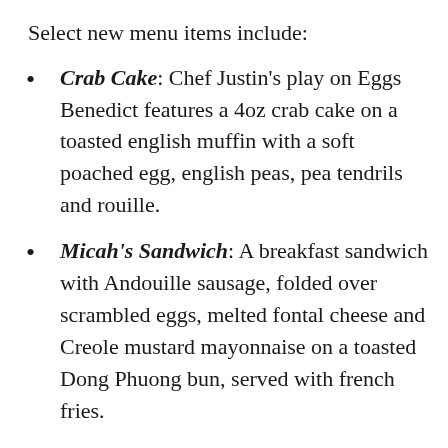Select new menu items include:
Crab Cake: Chef Justin's play on Eggs Benedict features a 4oz crab cake on a toasted english muffin with a soft poached egg, english peas, pea tendrils and rouille.
Micah's Sandwich: A breakfast sandwich with Andouille sausage, folded over scrambled eggs, melted fontal cheese and Creole mustard mayonnaise on a toasted Dong Phuong bun, served with french fries.
Smoked Fish: Toasted sourdough bread featuring layers of smoked trout and avocado topped with a salad of cucumbers,